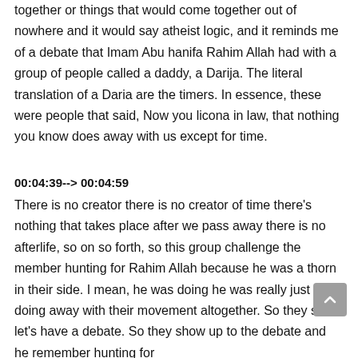together or things that would come together out of nowhere and it would say atheist logic, and it reminds me of a debate that Imam Abu hanifa Rahim Allah had with a group of people called a daddy, a Darija. The literal translation of a Daria are the timers. In essence, these were people that said, Now you licona in law, that nothing you know does away with us except for time.
00:04:39--> 00:04:59
There is no creator there is no creator of time there's nothing that takes place after we pass away there is no afterlife, so on so forth, so this group challenge the member hunting for Rahim Allah because he was a thorn in their side. I mean, he was doing he was really just doing away with their movement altogether. So they said let's have a debate. So they show up to the debate and he remember hunting for